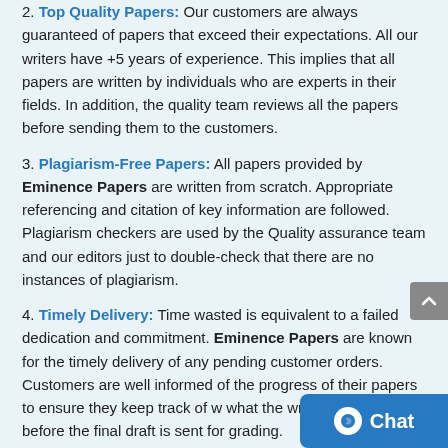2. Top Quality Papers: Our customers are always guaranteed of papers that exceed their expectations. All our writers have +5 years of experience. This implies that all papers are written by individuals who are experts in their fields. In addition, the quality team reviews all the papers before sending them to the customers.
3. Plagiarism-Free Papers: All papers provided by Eminence Papers are written from scratch. Appropriate referencing and citation of key information are followed. Plagiarism checkers are used by the Quality assurance team and our editors just to double-check that there are no instances of plagiarism.
4. Timely Delivery: Time wasted is equivalent to a failed dedication and commitment. Eminence Papers are known for the timely delivery of any pending customer orders. Customers are well informed of the progress of their papers to ensure they keep track of what the writer is providing before the final draft is sent for grading.